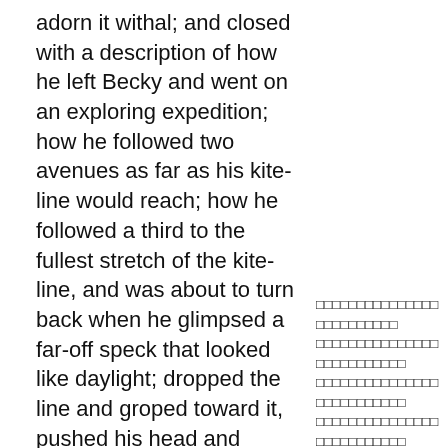adorn it withal; and closed with a description of how he left Becky and went on an exploring expedition; how he followed two avenues as far as his kite-line would reach; how he followed a third to the fullest stretch of the kite-line, and was about to turn back when he glimpsed a far-off speck that looked like daylight; dropped the line and groped toward it, pushed his head and shoulders through a small hole, and saw the broad Mississippi rolling by!
And if it had only happened to be night he would not have seen that speck of daylight and would not have explored that passage any more! He told how he went back for Becky
□□□□□□□□□□□□□□□□□□□□□□□□□□□□□□□□□□□□□□□□□□□□□□□□□□□□□□□□□□□□□□□□□□□□□□□□□□□□□□□□□□□□□□□□□□□□□□□□□□□□□□□□□□□□□□□□□□□□□□□□□□□□□□□□□□□□□□□□□□□□□□□□□□□□□□□□□□□